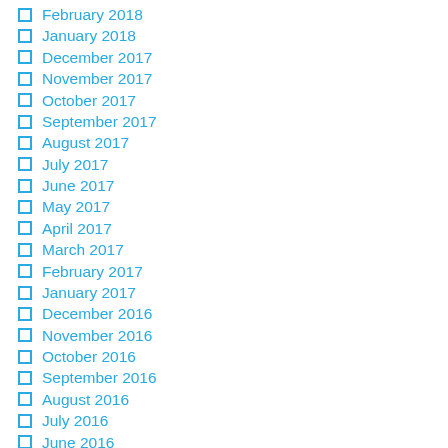February 2018
January 2018
December 2017
November 2017
October 2017
September 2017
August 2017
July 2017
June 2017
May 2017
April 2017
March 2017
February 2017
January 2017
December 2016
November 2016
October 2016
September 2016
August 2016
July 2016
June 2016
May 2016